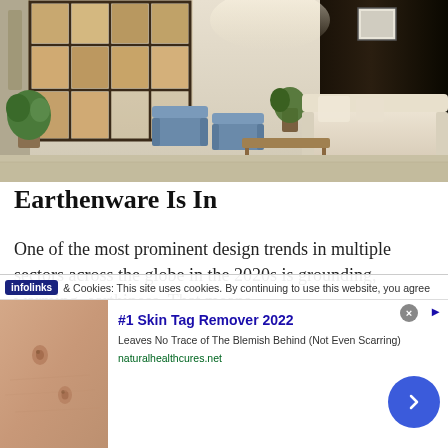[Figure (photo): Interior design photo of a modern living space with wooden grid shelving, blue armchairs, beige sofas, a wooden coffee table, plants, and large dark windows in the background. Neutral warm tones throughout.]
Earthenware Is In
One of the most prominent design trends in multiple sectors across the globe in the 2020s is grounding, warming, earthiness. That means
infolinks  & Cookies: This site uses cookies. By continuing to use this website, you agree
[Figure (photo): Close-up photo of skin showing skin tags/blemishes on a beige/tan background - advertisement image]
#1 Skin Tag Remover 2022
Leaves No Trace of The Blemish Behind (Not Even Scarring)
naturalhealthcures.net